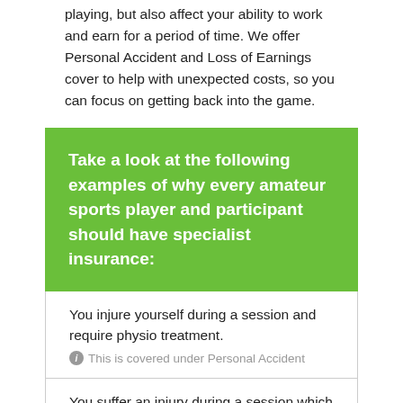playing, but also affect your ability to work and earn for a period of time. We offer Personal Accident and Loss of Earnings cover to help with unexpected costs, so you can focus on getting back into the game.
Take a look at the following examples of why every amateur sports player and participant should have specialist insurance:
You injure yourself during a session and require physio treatment. ⓘ This is covered under Personal Accident
You suffer an injury during a session which means you can't work and earn for a period of time. ⓘ This is covered under Loss of Earnings